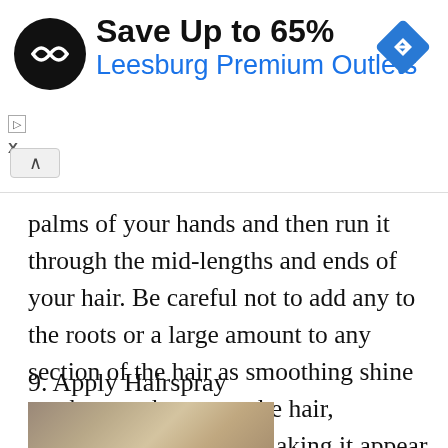[Figure (screenshot): Advertisement banner: Save Up to 65% Leesburg Premium Outlets with logo and navigation icon]
palms of your hands and then run it through the mid-lengths and ends of your hair. Be careful not to add any to the roots or a large amount to any section of the hair as smoothing shine can be very heavy on the hair, weighing it down and making it appear oily.
9. Apply Hairspray
[Figure (photo): A person holding and spraying hairspray on blonde hair, gray background]